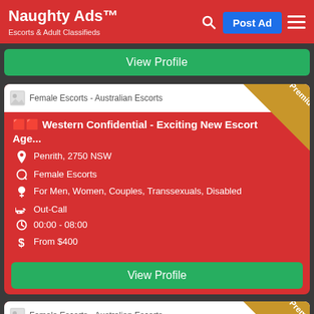Naughty Ads™ — Escorts & Adult Classifieds. Post Ad button, search icon, menu icon.
View Profile (button)
[Figure (screenshot): Female Escorts - Australian Escorts listing image placeholder]
🟥🟥 Western Confidential - Exciting New Escort Age...
Penrith, 2750 NSW
Female Escorts
For Men, Women, Couples, Transsexuals, Disabled
Out-Call
00:00 - 08:00
From $400
View Profile (button)
[Figure (screenshot): Female Escorts - Australian Escorts listing image placeholder (second card)]
Busty Aussie Playmate
Waterloo, Sydney